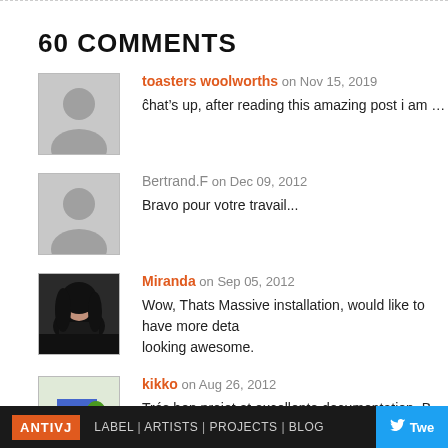60 COMMENTS
toasters woolworths on Nov 15, 2019 — ĉhat’s up, after reading this amazing post i am also happy tĉ sh
Bertrand.F on Dec 09, 2012 — Bravo pour votre travail...
Miranda on Sep 05, 2012 — Wow, Thats Massive installation, would like to have more deta looking awesome.
kikko on Aug 26, 2012 — Trés bon projet et excellente documentation. Bravo!
ANTIVJ  LABEL | ARTISTS | PROJECTS | BLOG  Twe